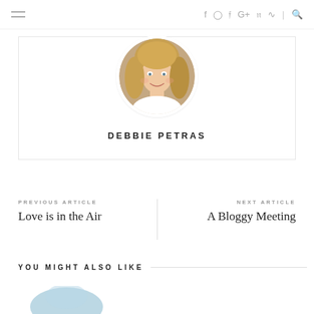≡  f  ⊙  𝕥  G+  𝕡  ⊃  |  🔍
[Figure (photo): Circular portrait photo of Debbie Petras, a blonde woman smiling]
DEBBIE PETRAS
PREVIOUS ARTICLE
Love is in the Air
NEXT ARTICLE
A Bloggy Meeting
YOU MIGHT ALSO LIKE